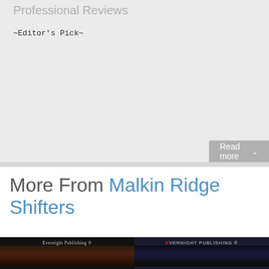Professional Reviews
~Editor's Pick~
Read more
More From Malkin Ridge Shifters
[Figure (photo): Book cover from Evernight Publishing (left cover, dark toned)]
[Figure (photo): Book cover from Evernight Publishing (right cover, dark toned)]